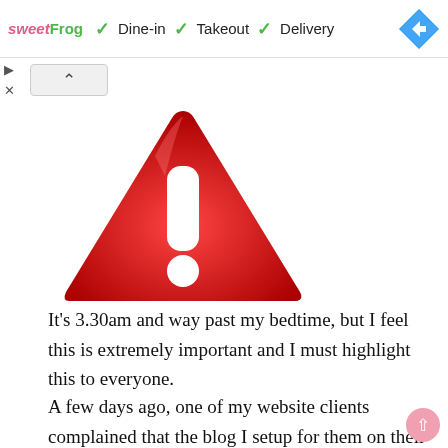[Figure (screenshot): Advertisement banner for sweetFrog showing checkmarks next to Dine-in, Takeout, Delivery options and a blue diamond navigation arrow icon]
[Figure (illustration): Red warning triangle sign with white exclamation mark and dot, 3D style]
It's 3.30am and way past my bedtime, but I feel this is extremely important and I must highlight this to everyone.
A few days ago, one of my website clients complained that the blog I setup for them on their server using WordPress could not be accessed. When I checked, it appeared to have